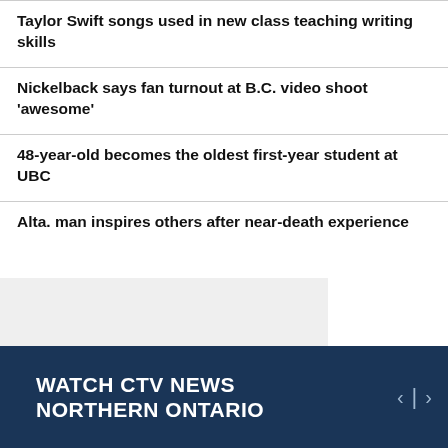Taylor Swift songs used in new class teaching writing skills
Nickelback says fan turnout at B.C. video shoot 'awesome'
48-year-old becomes the oldest first-year student at UBC
Alta. man inspires others after near-death experience
WATCH CTV NEWS NORTHERN ONTARIO